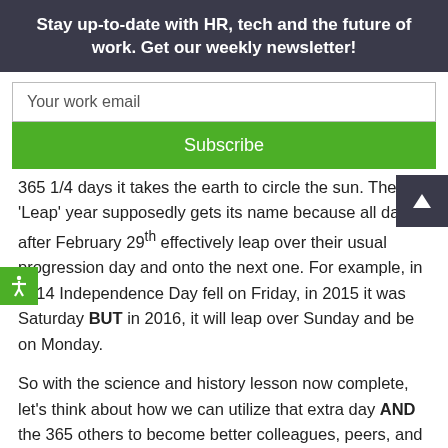Stay up-to-date with HR, tech and the future of work. Get our weekly newsletter!
Your work email
Subscribe
365 1/4 days it takes the earth to circle the sun. The 'Leap' year supposedly gets its name because all days after February 29th effectively leap over their usual progression day and onto the next one. For example, in 2014 Independence Day fell on Friday, in 2015 it was Saturday BUT in 2016, it will leap over Sunday and be on Monday.
So with the science and history lesson now complete, let's think about how we can utilize that extra day AND the 365 others to become better colleagues, peers, and leaders.
Mentioning becomes more memorable